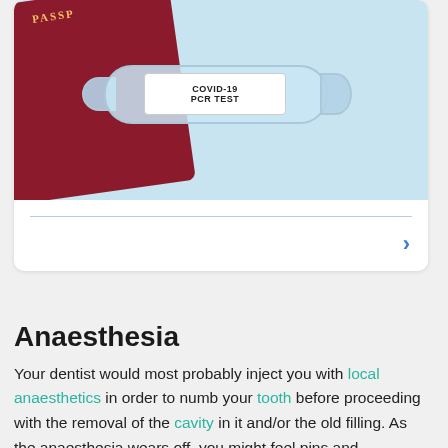[Figure (photo): Photo of a COVID-19 PCR TEST vial/swab tube lying next to a red passport on a light blue background]
Anaesthesia
Your dentist would most probably inject you with local anaesthetics in order to numb your tooth before proceeding with the removal of the cavity in it and/or the old filling. As the anaesthesia wears off, you might feel pins and